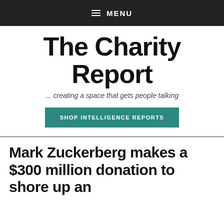MENU
The Charity Report
... creating a space that gets people talking
SHOP INTELLIGENCE REPORTS
Mark Zuckerberg makes a $300 million donation to shore up an